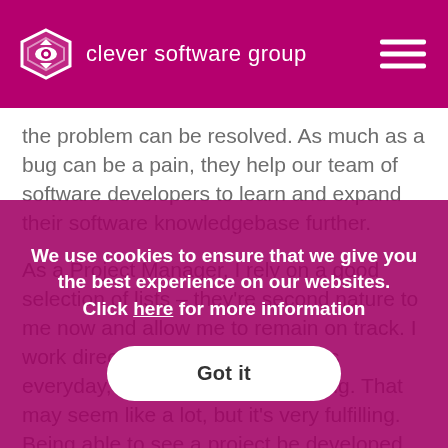[Figure (logo): Clever Software Group logo with shield icon and company name in white on magenta header bar]
the problem can be resolved. As much as a bug can be a pain, they help our team of software developers to learn and expand their software knowledgebase further.
As a Project Manager, I rely on a good selection of lists – they're second nature to me now and allow me to remain on track. I work directly with roughly 4 clients everyday, with 11 projects on going. That may seem like a lot, but it's very fulfilling. Being able to see a project be developed from start to finish is incredible and the software our developers produce us truly outstanding.
We use cookies to ensure that we give you the best experience on our websites. Click here for more information
Got it